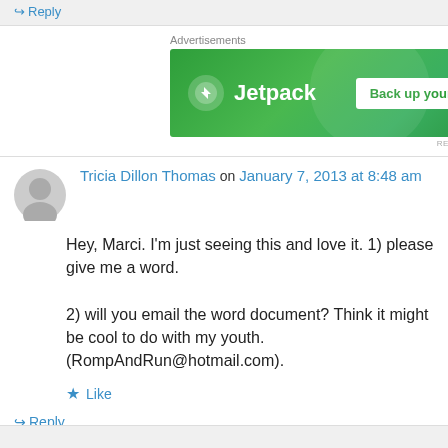↪ Reply
[Figure (screenshot): Jetpack advertisement banner with green background, Jetpack logo on left, and 'Back up your site' button on right]
REPORT THIS AD
Tricia Dillon Thomas on January 7, 2013 at 8:48 am
Hey, Marci. I'm just seeing this and love it. 1) please give me a word.
2) will you email the word document? Think it might be cool to do with my youth. (RompAndRun@hotmail.com).
Like
↪ Reply